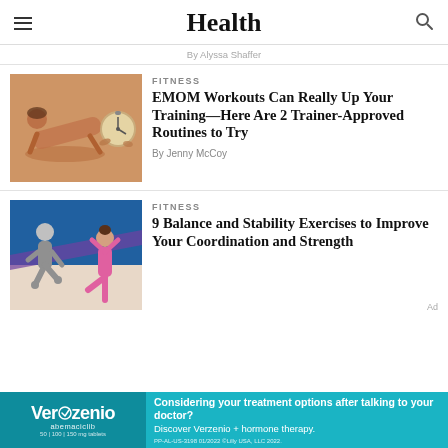Health
By Alyssa Shaffer
[Figure (photo): Woman doing push-up exercise and a hand holding a stopwatch, orange/warm toned]
FITNESS
EMOM Workouts Can Really Up Your Training—Here Are 2 Trainer-Approved Routines to Try
By Jenny McCoy
[Figure (photo): Two women in fitness wear doing balance poses on blue and neutral background]
FITNESS
9 Balance and Stability Exercises to Improve Your Coordination and Strength
[Figure (infographic): Verzenio (abemaciclib) advertisement banner — teal background with logo and text about treatment options]